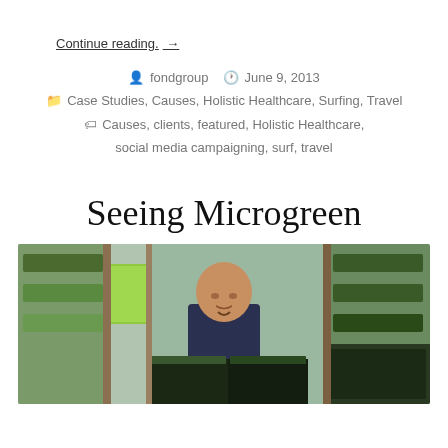Continue reading. →
fondgroup  June 9, 2013  Case Studies, Causes, Holistic Healthcare, Surfing, Travel  Causes, clients, featured, Holistic Healthcare, social media campaigning, surf, travel
Seeing Microgreen
[Figure (photo): A bald man in a dark shirt leaning over trays of microgreens in a greenhouse setting with wooden shelving]